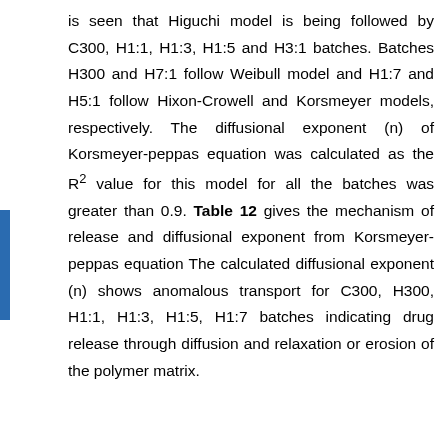is seen that Higuchi model is being followed by C300, H1:1, H1:3, H1:5 and H3:1 batches. Batches H300 and H7:1 follow Weibull model and H1:7 and H5:1 follow Hixon-Crowell and Korsmeyer models, respectively. The diffusional exponent (n) of Korsmeyer-peppas equation was calculated as the R² value for this model for all the batches was greater than 0.9. Table 12 gives the mechanism of release and diffusional exponent from Korsmeyer-peppas equation The calculated diffusional exponent (n) shows anomalous transport for C300, H300, H1:1, H1:3, H1:5, H1:7 batches indicating drug release through diffusion and relaxation or erosion of the polymer matrix.